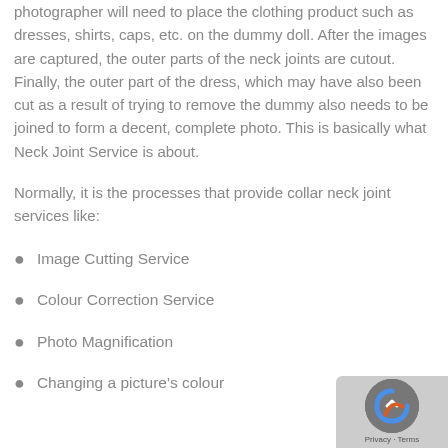photographer will need to place the clothing product such as dresses, shirts, caps, etc. on the dummy doll. After the images are captured, the outer parts of the neck joints are cutout. Finally, the outer part of the dress, which may have also been cut as a result of trying to remove the dummy also needs to be joined to form a decent, complete photo. This is basically what Neck Joint Service is about.
Normally, it is the processes that provide collar neck joint services like:
Image Cutting Service
Colour Correction Service
Photo Magnification
Changing a picture's colour